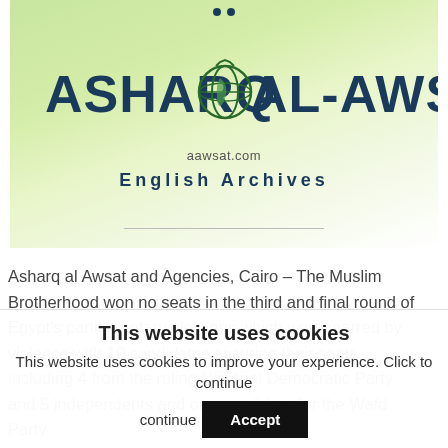[Figure (logo): Asharq Al-Awsat newspaper header banner with green gradient background, globe icon, website URL aawsat.com, and 'English Archives' subtitle]
Asharq al Awsat and Agencies, Cairo – The Muslim Brotherhood won no seats in the third and final round of Egypt's parliamentary elections which were marred by violence with 10 candidates securing their seats, including 4 from the ruling National Democratic Party and 5 independents and one candidate for the Wafd Party
This website uses cookies
This website uses cookies to improve your experience. Click to continue
Accept